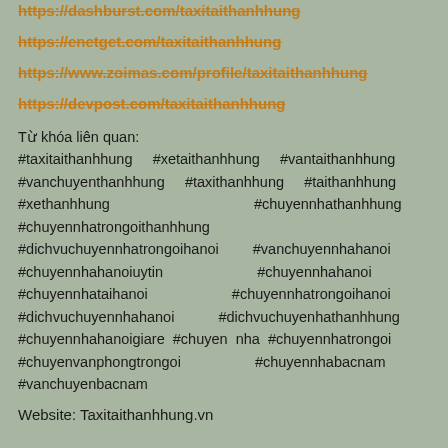https://dashburst.com/taxitaithanhhung
https://enetget.com/taxitaithanhhung
https://www.zoimas.com/profile/taxitaithanhhung
https://devpost.com/taxitaithanhhung
Từ khóa liên quan:
#taxitaithanhhung #xetaithanhhung #vantaithanhhung #vanchuyenthanhhung #taxithanhhung #taithanhhung #xethanhhung #chuyennhathanhhung #chuyennhatrongoithanhhung #dichvuchuyennhatrongoihanoi #vanchuyennhahanoi #chuyennhahanoiuytin #chuyennhahanoi #chuyennhataihanoi #chuyennhatrongoihanoi #dichvuchuyennhahanoi #dichvuchuyenhathanhhung #chuyennhahanoigiare #chuyen nha #chuyennhatrongoi #chuyenvanphongtrongoi #chuyennhabacnam #vanchuyenbacnam
Website: Taxitaithanhhung.vn